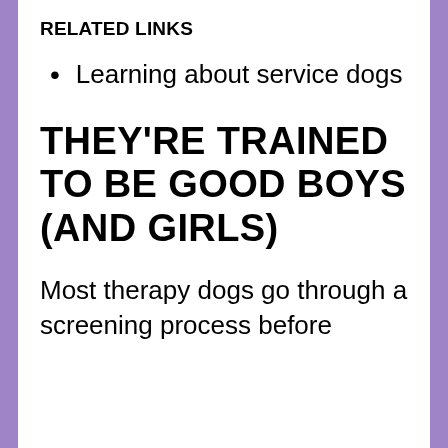RELATED LINKS
Learning about service dogs
THEY'RE TRAINED TO BE GOOD BOYS (AND GIRLS)
Most therapy dogs go through a screening process before